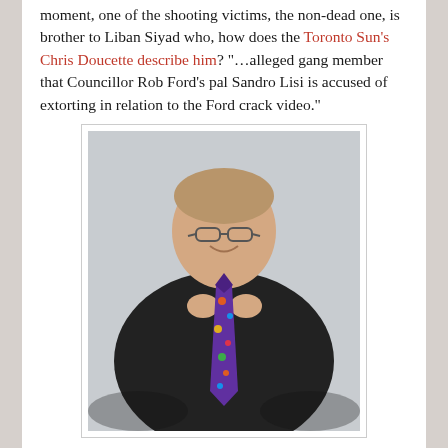moment, one of the shooting victims, the non-dead one, is brother to Liban Siyad who, how does the Toronto Sun's Chris Doucette describe him? "…alleged gang member that Councillor Rob Ford's pal Sandro Lisi is accused of extorting in relation to the Ford crack video."
[Figure (photo): A large man wearing a black t-shirt and holding a patterned necktie, standing against a light-colored wall.]
"He wouldn't say anything," Councillor Ford told the Sun. "He was shot once in the shoulder and twice in the...